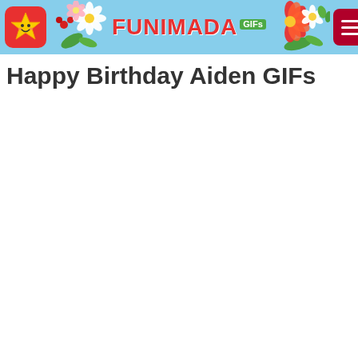FUNIMADA GIFs
Happy Birthday Aiden GIFs